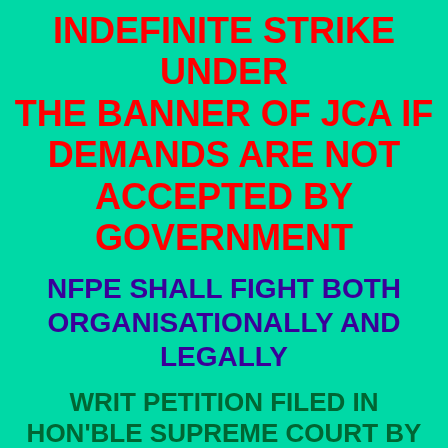INDEFINITE STRIKE UNDER THE BANNER OF JCA IF DEMANDS ARE NOT ACCEPTED BY GOVERNMENT
NFPE SHALL FIGHT BOTH ORGANISATIONALLY AND LEGALLY
WRIT PETITION FILED IN HON'BLE SUPREME COURT BY NFPE & GDS (NFPE) UNION POSTED FOR ADMINISSION